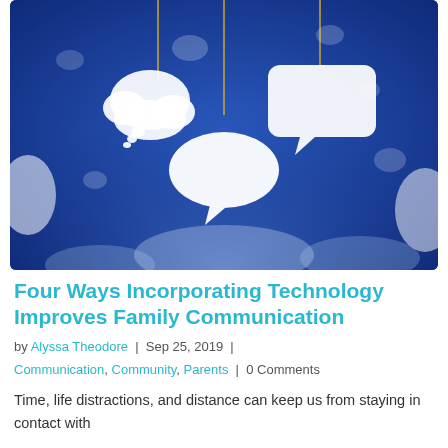[Figure (photo): Photo of white paper speech bubble cutouts hanging on strings against a blue background, representing communication.]
Four Ways Incorporating Technology Improves Family Communication
by Alyssa Theodore | Sep 25, 2019 | Communication, Community, Parents | 0 Comments
Time, life distractions, and distance can keep us from staying in contact with